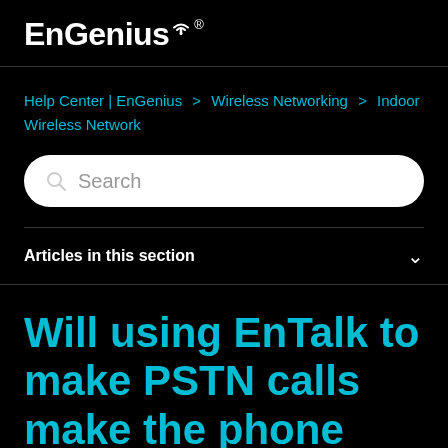EnGenius®
Help Center | EnGenius > Wireless Networking > Indoor Wireless Network
[Figure (other): Search bar with placeholder text 'Search' and a search icon]
Articles in this section
Will using EnTalk to make PSTN calls make the phone